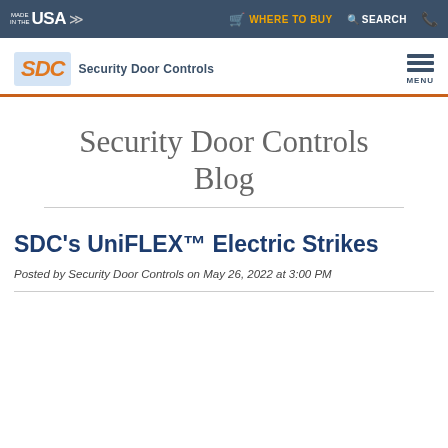MADE IN THE USA | WHERE TO BUY | SEARCH
[Figure (logo): SDC Security Door Controls logo with orange and blue text and tagline]
Security Door Controls Blog
SDC's UniFLEX™ Electric Strikes
Posted by Security Door Controls on May 26, 2022 at 3:00 PM